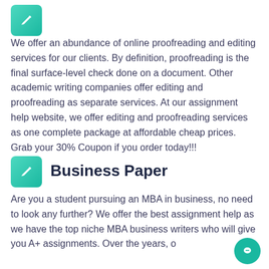We offer an abundance of online proofreading and editing services for our clients. By definition, proofreading is the final surface-level check done on a document. Other academic writing companies offer editing and proofreading as separate services. At our assignment help website, we offer editing and proofreading services as one complete package at affordable cheap prices. Grab your 30% Coupon if you order today!!!
Business Paper
Are you a student pursuing an MBA in business, no need to look any further? We offer the best assignment help as we have the top niche MBA business writers who will give you A+ assignments. Over the years, our experts have helped students accomplish their